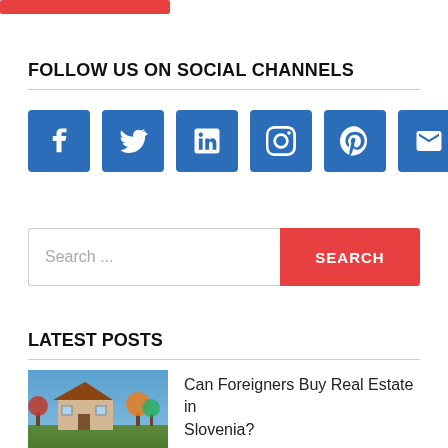FOLLOW US ON SOCIAL CHANNELS
[Figure (infographic): Six social media icon buttons in blue squares: Facebook (f), Twitter (bird), LinkedIn (in), Instagram (camera), Pinterest (P), Email (envelope)]
Search …
LATEST POSTS
[Figure (photo): Thumbnail photo of a house with trees in autumn colors]
Can Foreigners Buy Real Estate in Slovenia?